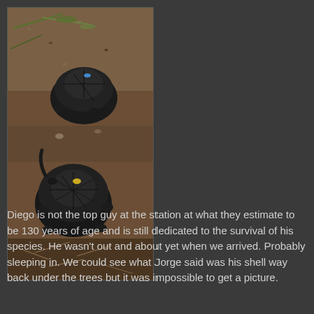[Figure (photo): Two small dark tortoises on a dirt and rocky ground with some dry vegetation. The tortoise in the upper portion has a small blue mark on its shell, and the lower tortoise has a small yellow mark on its shell.]
Diego is not the top guy at the station at what they estimate to be 130 years of age and is still dedicated to the survival of his species. He wasn't out and about yet when we arrived. Probably sleeping in. We could see what Jorge said was his shell way back under the trees but it was impossible to get a picture.